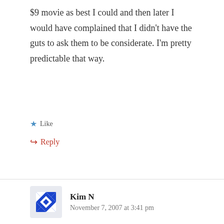$9 movie as best I could and then later I would have complained that I didn't have the guts to ask them to be considerate. I'm pretty predictable that way.
Like
Reply
Kim N
November 7, 2007 at 3:41 pm
I have always wished I was the kind of person who dared speak up more in situations like you were in at the movie…but I get too nervous. Thankfully my